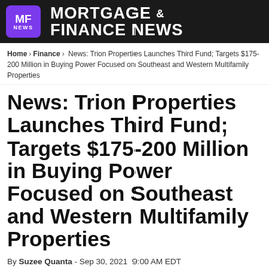[Figure (logo): Mortgage & Finance News logo with purple MF NEWS badge on dark background]
Home > Finance > News: Trion Properties Launches Third Fund; Targets $175-200 Million in Buying Power Focused on Southeast and Western Multifamily Properties
News: Trion Properties Launches Third Fund; Targets $175-200 Million in Buying Power Focused on Southeast and Western Multifamily Properties
By Suzee Quanta - Sep 30, 2021 9:00 AM EDT
[Figure (infographic): Social media share buttons: Facebook, Twitter, Google+, Pinterest, WhatsApp]